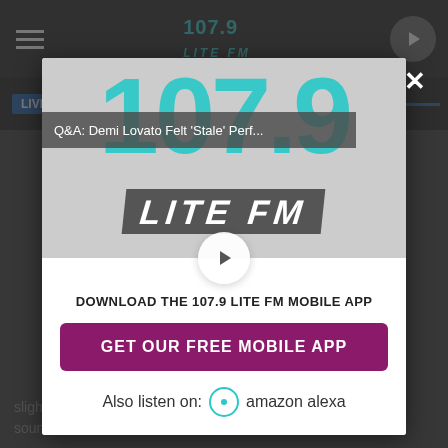[Figure (screenshot): Screenshot of 107.9 Lite FM website with a modal popup overlay. The modal contains the 107.9 Lite FM logo, a video title bar reading 'Q&A: Demi Lovato Felt Stale Perf...', a play button, text to download the mobile app, a purple 'GET OUR FREE MOBILE APP' button, and 'Also listen on: amazon alexa' text. The background shows a dark website header with hamburger menu, station logo, and play button.]
Q&A: Demi Lovato Felt 'Stale' Perf...
DOWNLOAD THE 107.9 LITE FM MOBILE APP
GET OUR FREE MOBILE APP
Also listen on: amazon alexa
slightly longer to hear it, NASA says on their website. "Some sounds that we're used to on Earth, like whistles, bells, or